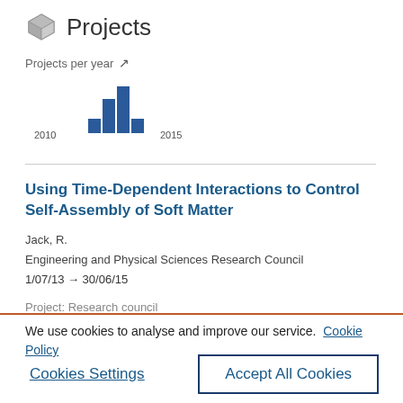Projects
[Figure (bar-chart): Projects per year]
Using Time-Dependent Interactions to Control Self-Assembly of Soft Matter
Jack, R.
Engineering and Physical Sciences Research Council
1/07/13 → 30/06/15
Project: Research council
We use cookies to analyse and improve our service.  Cookie Policy
Cookies Settings
Accept All Cookies